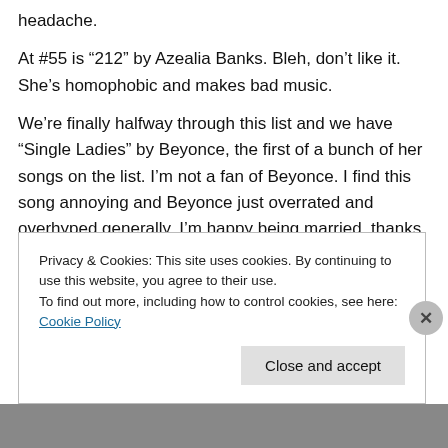headache.
At #55 is “212” by Azealia Banks. Bleh, don’t like it. She’s homophobic and makes bad music.
We’re finally halfway through this list and we have “Single Ladies” by Beyonce, the first of a bunch of her songs on the list. I’m not a fan of Beyonce. I find this song annoying and Beyonce just overrated and overhyped generally. I’m happy being married, thanks. I would never want to be single again. So far, the halfway
Privacy & Cookies: This site uses cookies. By continuing to use this website, you agree to their use.
To find out more, including how to control cookies, see here: Cookie Policy
Close and accept